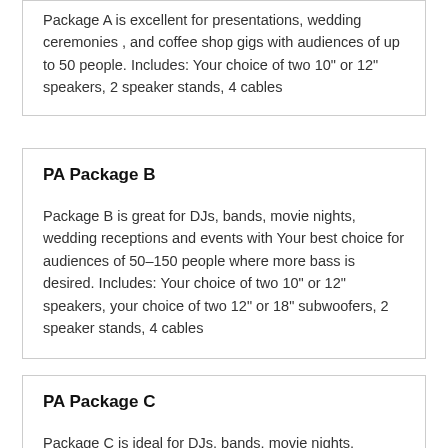Package A is excellent for presentations, wedding ceremonies , and coffee shop gigs with audiences of up to 50 people. Includes: Your choice of two 10" or 12" speakers, 2 speaker stands, 4 cables
PA Package B
Package B is great for DJs, bands, movie nights, wedding receptions and events with Your best choice for audiences of 50–150 people where more bass is desired. Includes: Your choice of two 10" or 12" speakers, your choice of two 12" or 18" subwoofers, 2 speaker stands, 4 cables
PA Package C
Package C is ideal for DJs, bands, movie nights,